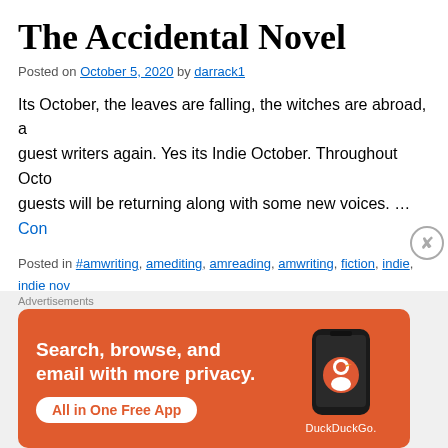The Accidental Novel
Posted on October 5, 2020 by darrack1
Its October, the leaves are falling, the witches are abroad, a guest writers again. Yes its Indie October. Throughout Octo guests will be returning along with some new voices. … Con
Posted in #amwriting, amediting, amreading, amwriting, fiction, indie, indie nov nanowrimo, novels, opinion, publication, reads, self-publishing, writes, writing | publishing, indiebooks, indienovels, indieoctober, indiewriter, self-publishing, se a comment
The Complexity of a review...
[Figure (infographic): DuckDuckGo advertisement banner with orange background. Text reads 'Search, browse, and email with more privacy. All in One Free App' with a phone image and DuckDuckGo logo.]